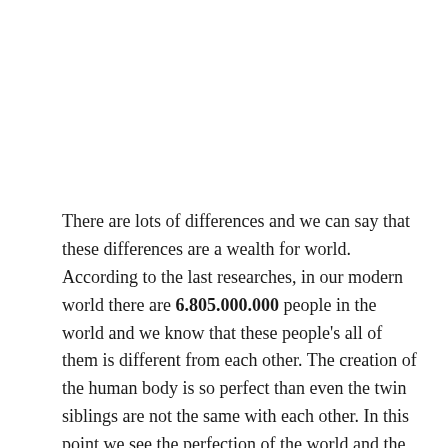There are lots of differences and we can say that these differences are a wealth for world. According to the last researches, in our modern world there are 6.805.000.000 people in the world and we know that these people's all of them is different from each other. The creation of the human body is so perfect than even the twin siblings are not the same with each other. In this point we see the perfection of the world and the perfection of the creation of the human being. For all human being these differences must be seen as a normal but some people see other people's difference in a negative way and as a result of this there are lots of conflicts or even wars in the different regions of the world but if people see other people's differences as a wealth people don't fight with each other and our earth will be more